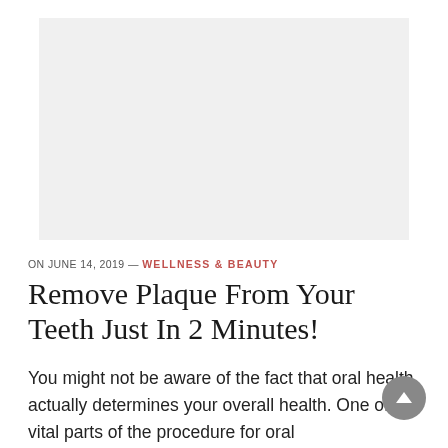[Figure (photo): Light gray placeholder image area representing an article header photo]
ON JUNE 14, 2019 — WELLNESS & BEAUTY
Remove Plaque From Your Teeth Just In 2 Minutes!
You might not be aware of the fact that oral health actually determines your overall health. One of the vital parts of the procedure for oral